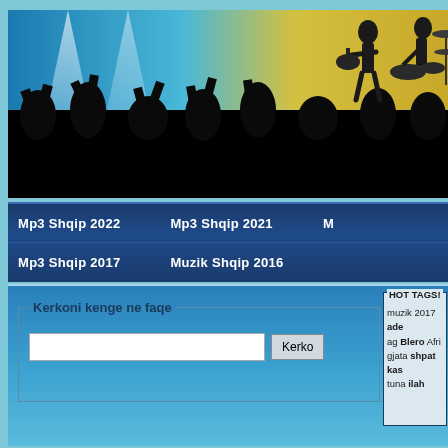[Figure (photo): Concert scene banner showing silhouettes of musicians on stage with crowd raising hands, lit by blue and yellow stage lights]
Mp3 Shqip 2022   Mp3 Shqip 2021   Mp3 Shqip 2017   Muzik Shqip 2016
Kerkoni kenge ne faqe [search box] Kerko
HOT TAGS! muzik 2017 ade ag Blero Afri gjata shpat kas tuna ilah